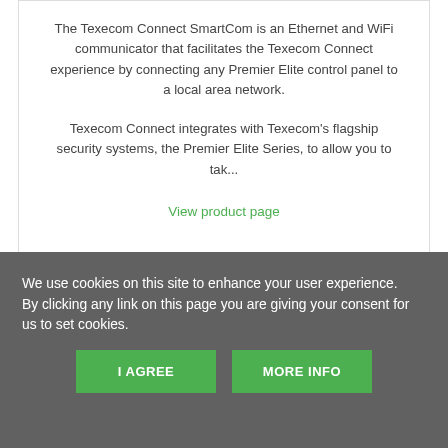The Texecom Connect SmartCom is an Ethernet and WiFi communicator that facilitates the Texecom Connect experience by connecting any Premier Elite control panel to a local area network.
Texecom Connect integrates with Texecom's flagship security systems, the Premier Elite Series, to allow you to tak...
View product page
We use cookies on this site to enhance your user experience.
By clicking any link on this page you are giving your consent for us to set cookies.